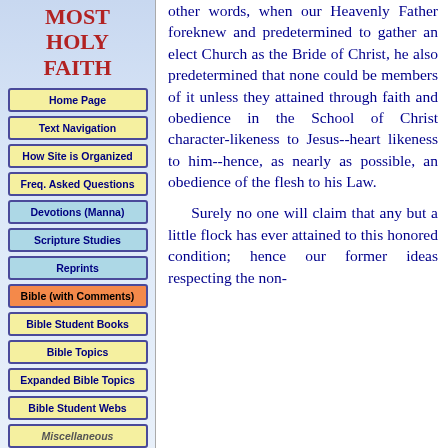MOST HOLY FAITH
Home Page
Text Navigation
How Site is Organized
Freq. Asked Questions
Devotions (Manna)
Scripture Studies
Reprints
Bible (with Comments)
Bible Student Books
Bible Topics
Expanded Bible Topics
Bible Student Webs
Miscellaneous
other words, when our Heavenly Father foreknew and predetermined to gather an elect Church as the Bride of Christ, he also predetermined that none could be members of it unless they attained through faith and obedience in the School of Christ character-likeness to Jesus--heart likeness to him--hence, as nearly as possible, an obedience of the flesh to his Law.
Surely no one will claim that any but a little flock has ever attained to this honored condition; hence our former ideas respecting the non-